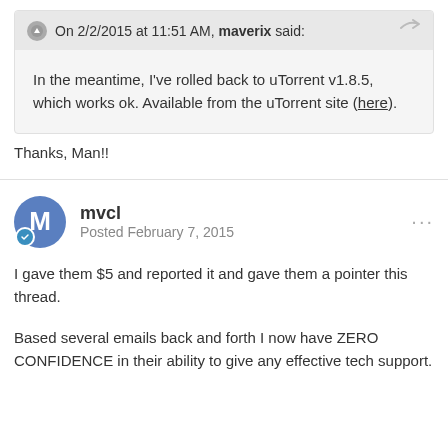On 2/2/2015 at 11:51 AM, maverix said:
In the meantime, I've rolled back to uTorrent v1.8.5, which works ok. Available from the uTorrent site (here).
Thanks, Man!!
mvcl
Posted February 7, 2015
I gave them $5 and reported it and gave them a pointer this thread.
Based several emails back and forth I now have ZERO CONFIDENCE in their ability to give any effective tech support.